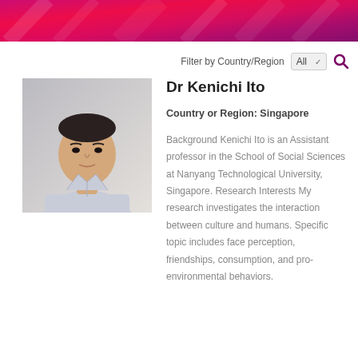[Figure (illustration): Pink and red gradient header banner with horizontal stripe texture]
Filter by Country/Region   All ∨ 🔍
[Figure (photo): Headshot photo of Dr Kenichi Ito, an Asian man in a light blue collared shirt, against a light grey background]
Dr Kenichi Ito
Country or Region: Singapore
Background Kenichi Ito is an Assistant professor in the School of Social Sciences at Nanyang Technological University, Singapore. Research Interests My research investigates the interaction between culture and humans. Specific topic includes face perception, friendships, consumption, and pro-environmental behaviors.